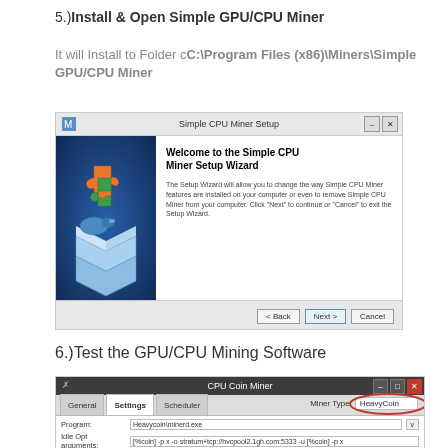5.)Install & Open Simple GPU/CPU Miner
It will Install to Folder cC:\Program Files (x86)\Miners\Simple GPU/CPU Miner
[Figure (screenshot): Simple CPU Miner Setup Wizard installation dialog with puzzle piece logo on left panel and welcome text on right, with Back, Next, and Cancel buttons at bottom.]
6.)Test the GPU/CPU Mining Software
[Figure (screenshot): CPU Coin Miner application window showing Settings tab with Miner Type set to HeavyCoin (circled in red), Program field showing Heavycoin\minerd.exe, and Idle Opt arguments field.]